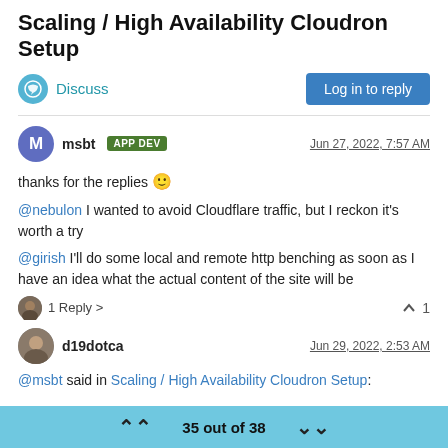Scaling / High Availability Cloudron Setup
Discuss
Log in to reply
msbt APP DEV  Jun 27, 2022, 7:57 AM
thanks for the replies 🙂
@nebulon I wanted to avoid Cloudflare traffic, but I reckon it's worth a try
@girish I'll do some local and remote http benching as soon as I have an idea what the actual content of the site will be
1 Reply >  ^ 1
d19dotca  Jun 29, 2022, 2:53 AM
@msbt said in Scaling / High Availability Cloudron Setup:
35 out of 38